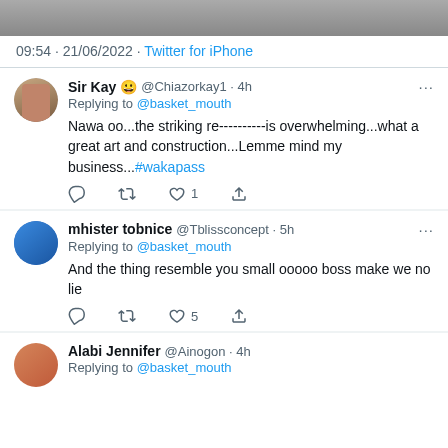[Figure (screenshot): Top cropped image strip from Twitter post]
09:54 · 21/06/2022 · Twitter for iPhone
Sir Kay 😀 @Chiazorkay1 · 4h
Replying to @basket_mouth
Nawa oo...the striking re----------is overwhelming...what a great art and construction...Lemme mind my business...#wakapass
mhister tobnice @Tblissconcept · 5h
Replying to @basket_mouth
And the thing resemble you small ooooo boss make we no lie
Alabi Jennifer @Ainogon · 4h
Replying to @basket_mouth